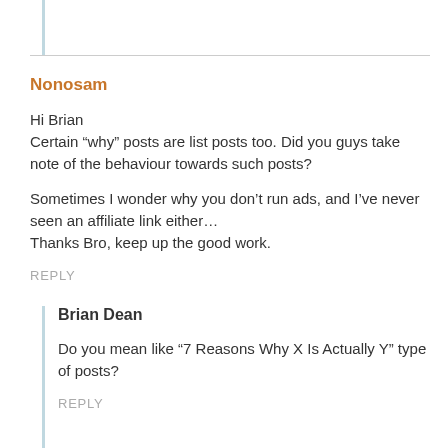Nonosam
Hi Brian
Certain “why” posts are list posts too. Did you guys take note of the behaviour towards such posts?

Sometimes I wonder why you don’t run ads, and I’ve never seen an affiliate link either…
Thanks Bro, keep up the good work.
REPLY
Brian Dean
Do you mean like “7 Reasons Why X Is Actually Y” type of posts?
REPLY